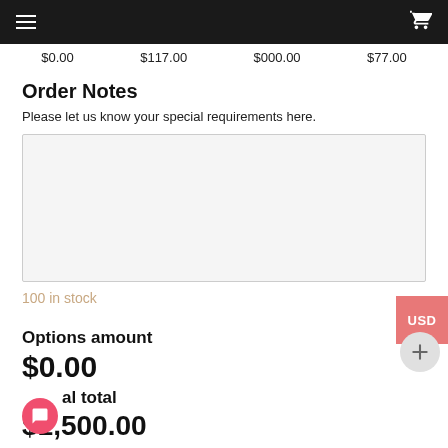Navigation bar with hamburger menu and cart icon
$0.00   $117.00   $000.00   $77.00
Order Notes
Please let us know your special requirements here.
100 in stock
Options amount
$0.00
al total
$1,500.00